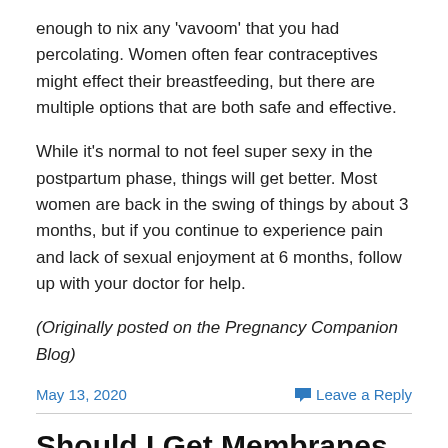enough to nix any 'vavoom' that you had percolating. Women often fear contraceptives might effect their breastfeeding, but there are multiple options that are both safe and effective.
While it's normal to not feel super sexy in the postpartum phase, things will get better. Most women are back in the swing of things by about 3 months, but if you continue to experience pain and lack of sexual enjoyment at 6 months, follow up with your doctor for help.
(Originally posted on the Pregnancy Companion Blog)
May 13, 2020
Leave a Reply
Should I Get Membranes